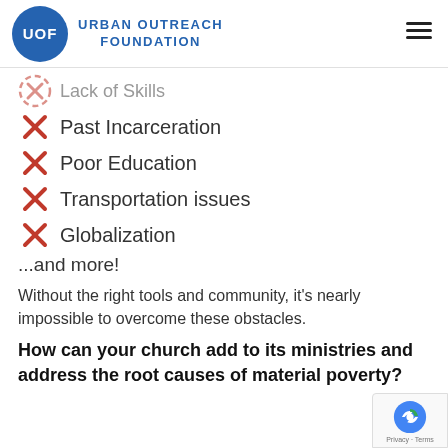UOF URBAN OUTREACH FOUNDATION
Lack of Skills (partial/cut off)
Past Incarceration
Poor Education
Transportation issues
Globalization
...and more!
Without the right tools and community, it's nearly impossible to overcome these obstacles.
How can your church add to its ministries and address the root causes of material poverty?